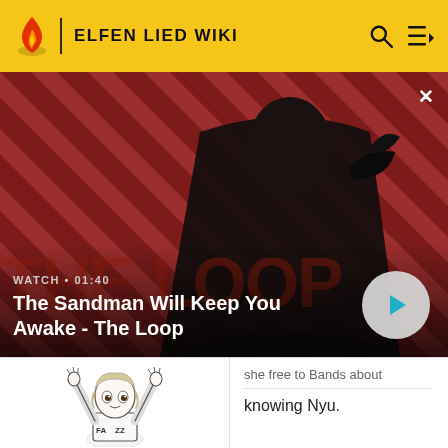ELFEN LIED WIKI
[Figure (screenshot): Video banner showing a dark figure with a raven on their shoulder against a red diagonal striped background. Text overlay reads 'WATCH • 01:40' and 'The Sandman Will Keep You Awake - The Loop' with a play button on the right.]
[Figure (illustration): Black and white manga-style illustration of a young female character with hands raised above head, wearing a shirt with 'FA ZZ' text visible.]
she free to Bands about knowing Nyu.